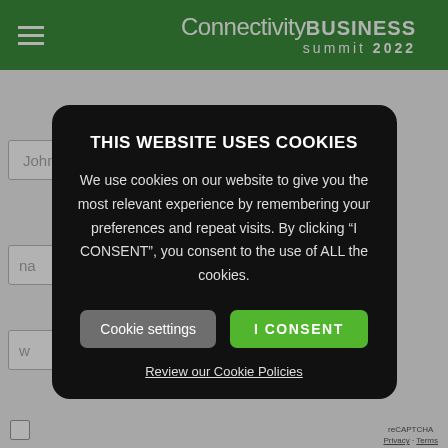Connectivity BUSINESS summit 2022
[Figure (screenshot): Website registration form with fields for name, email, and other inputs, partially visible behind a cookie consent modal]
THIS WEBSITE USES COOKIES
We use cookies on our website to give you the most relevant experience by remembering your preferences and repeat visits. By clicking "I CONSENT", you consent to the use of ALL the cookies.
Cookie settings
I CONSENT
Review our Cookie Policies